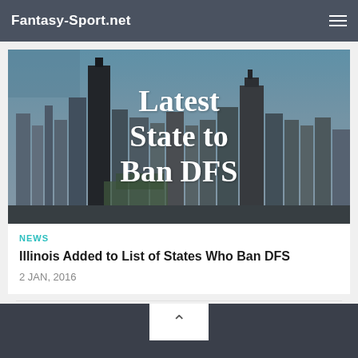Fantasy-Sport.net
[Figure (photo): Aerial/elevated photo of Chicago city skyline with skyscrapers, overlaid with large white serif text reading 'Latest State to Ban DFS']
NEWS
Illinois Added to List of States Who Ban DFS
2 JAN, 2016